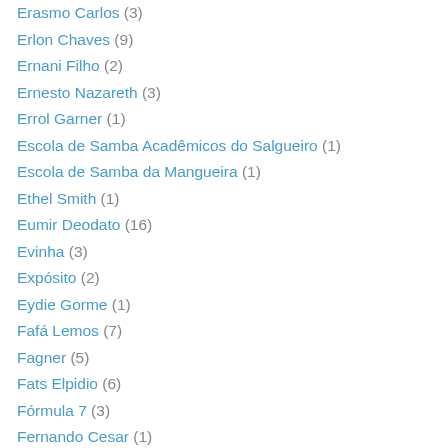Erasmo Carlos (3)
Erlon Chaves (9)
Ernani Filho (2)
Ernesto Nazareth (3)
Errol Garner (1)
Escola de Samba Acadêmicos do Salgueiro (1)
Escola de Samba da Mangueira (1)
Ethel Smith (1)
Eumir Deodato (16)
Evinha (3)
Expósito (2)
Eydie Gorme (1)
Fafá Lemos (7)
Fagner (5)
Fats Elpidio (6)
Fórmula 7 (3)
Fernando Cesar (1)
Fernando Gallo (1)
Fernando Lona (2)
Fernando Martins (1)